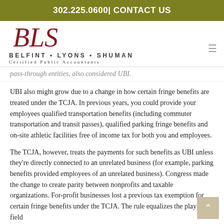302.225.0600 | CONTACT US
[Figure (logo): BLS - Belfint Lyons Shuman Certified Public Accountants logo with cursive BLS text in dark red and firm name in dark gray]
pass-through entities, also considered UBI.
UBI also might grow due to a change in how certain fringe benefits are treated under the TCJA. In previous years, you could provide your employees qualified transportation benefits (including commuter transportation and transit passes), qualified parking fringe benefits and on-site athletic facilities free of income tax for both you and employees.
The TCJA, however, treats the payments for such benefits as UBI unless they're directly connected to an unrelated business (for example, parking benefits provided employees of an unrelated business). Congress made the change to create parity between nonprofits and taxable organizations. For-profit businesses lost a previous tax exemption for certain fringe benefits under the TCJA. The rule equalizes the playing field